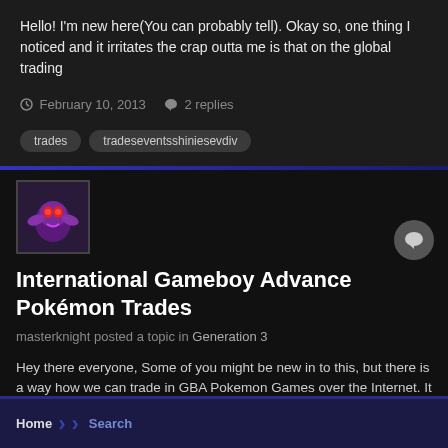Hello! I'm new here(You can probably tell). Okay so, one thing I noticed and it irritates the crap outta me is that on the global trading
February 10, 2013  2 replies
trades
tradeseventsshiniesevdiv
International Gameboy Advance Pokémon Trades
masterknight posted a topic in Generation 3
Hey there everyone, Some of you might be new in to this, but there is a way how we can trade in GBA Pokemon Games over the Internet. It
June 3, 2009  27 replies
advance
gameboy
(and 3 more)
Home  Search